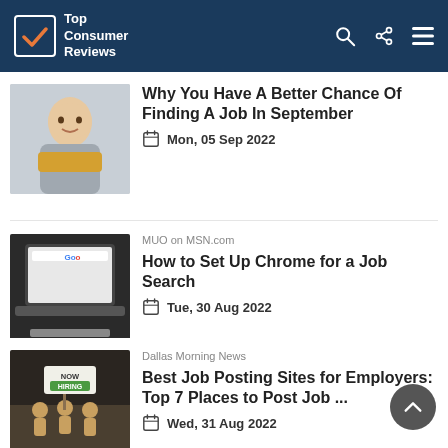Top Consumer Reviews
[Figure (photo): Person smiling outdoors wearing gray and yellow scarf]
Why You Have A Better Chance Of Finding A Job In September
Mon, 05 Sep 2022
MUO on MSN.com
[Figure (photo): Hands holding laptop showing Google homepage]
How to Set Up Chrome for a Job Search
Tue, 30 Aug 2022
Dallas Morning News
[Figure (photo): Wooden figures holding Now Hiring sign]
Best Job Posting Sites for Employers: Top 7 Places to Post Job ...
Wed, 31 Aug 2022